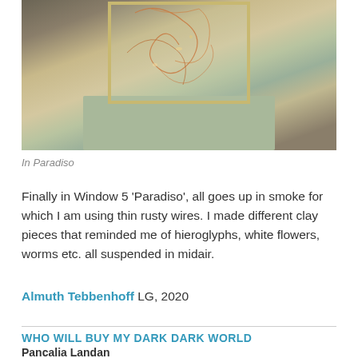[Figure (photo): Photograph of a glass box sculpture on a pale green pedestal, containing thin rusty wires and small clay pieces suspended in midair, displayed in a gallery setting.]
In Paradiso
Finally in Window 5 'Paradiso', all goes up in smoke for which I am using thin rusty wires. I made different clay pieces that reminded me of hieroglyphs, white flowers, worms etc. all suspended in midair.
Almuth Tebbenhoff LG, 2020
WHO WILL BUY MY DARK DARK WORLD
Pancalia Landan